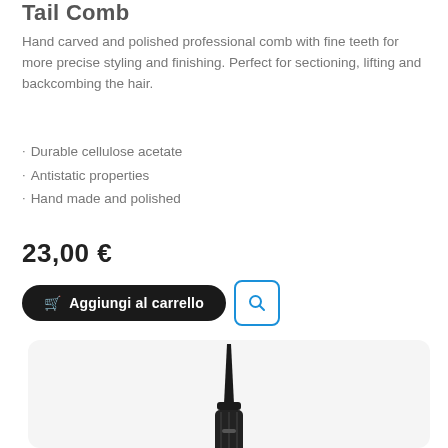Tail Comb
Hand carved and polished professional comb with fine teeth for more precise styling and finishing. Perfect for sectioning, lifting and backcombing the hair.
Durable cellulose acetate
Antistatic properties
Hand made and polished
23,00 €
[Figure (screenshot): Black Add to cart button and search icon button]
[Figure (photo): Product photo of a black tail comb shown vertically against white background inside a rounded rectangle card]